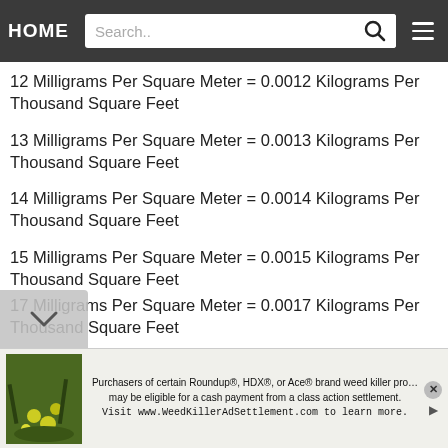HOME | Search..
12 Milligrams Per Square Meter = 0.0012 Kilograms Per Thousand Square Feet
13 Milligrams Per Square Meter = 0.0013 Kilograms Per Thousand Square Feet
14 Milligrams Per Square Meter = 0.0014 Kilograms Per Thousand Square Feet
15 Milligrams Per Square Meter = 0.0015 Kilograms Per Thousand Square Feet
16 Milligrams Per Square Meter = 0.0016 Kilograms Per Thousand Square Feet
17 Milligrams Per Square Meter = 0.0017 Kilograms Per Thousand Square Feet
Purchasers of certain Roundup®, HDX®, or Ace® brand weed killer products may be eligible for a cash payment from a class action settlement. Visit www.WeedKillerAdSettlement.com to learn more.